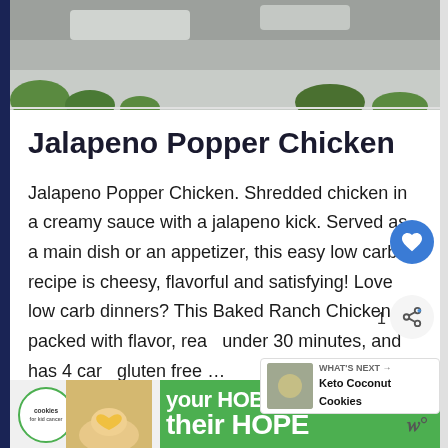[Figure (photo): Top portion of a food photo, blurred/cropped, showing part of a dish with green leaves visible against a light background]
Jalapeno Popper Chicken
Jalapeno Popper Chicken. Shredded chicken in a creamy sauce with a jalapeno kick. Served as a main dish or an appetizer, this easy low carb recipe is cheesy, flavorful and satisfying! Love low carb dinners? This Baked Ranch Chicken is packed with flavor, ready under 30 minutes, and has 4 carb gluten free …
[Figure (other): What's Next promotional widget showing a thumbnail and text 'Keto Coconut Cookies']
[Figure (other): Advertisement banner: 'your HOBBY is their HOPE' with cookies/baking brand logo and image of hands holding a heart-shaped cookie]